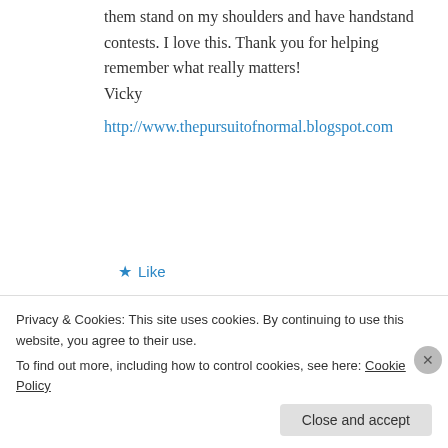them stand on my shoulders and have handstand contests. I love this. Thank you for helping remember what really matters!
Vicky
http://www.thepursuitofnormal.blogspot.com
★ Like
↪ Reply
Sasha on July 12, 2013 at 10:43 pm
Privacy & Cookies: This site uses cookies. By continuing to use this website, you agree to their use.
To find out more, including how to control cookies, see here: Cookie Policy
Close and accept